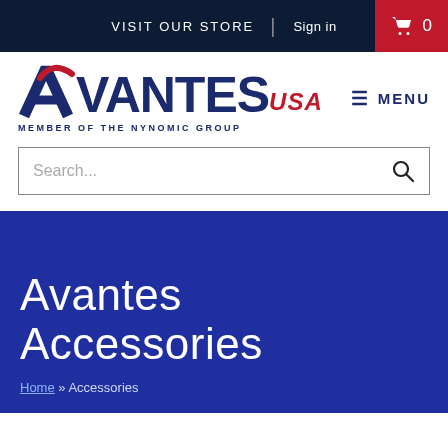VISIT OUR STORE | Sign in  🛒 0
[Figure (logo): Avantes USA logo with red A and checkmark, dark blue VANTES text, red italic USA, tagline MEMBER OF THE NYNOMIC GROUP]
≡ MENU
Search...
Avantes Accessories
Home » Accessories